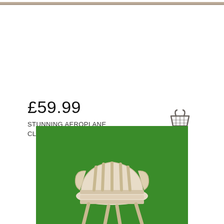[Figure (photo): Partial view of an ornate wooden or stone surface at the top of the page]
£59.99
STUNNING AEROPLANE CLOCK/SHELF
[Figure (illustration): Shopping basket / cart icon in dark grey]
[Figure (photo): A white/cream coloured wooden slatted garden chair on green grass]